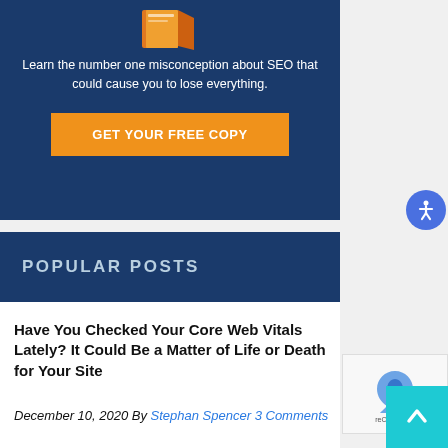[Figure (illustration): Dark blue banner with a book image at top and orange CTA button, showing text about SEO misconception]
Learn the number one misconception about SEO that could cause you to lose everything.
GET YOUR FREE COPY
POPULAR POSTS
Have You Checked Your Core Web Vitals Lately? It Could Be a Matter of Life or Death for Your Site
December 10, 2020 By Stephan Spencer 3 Comments